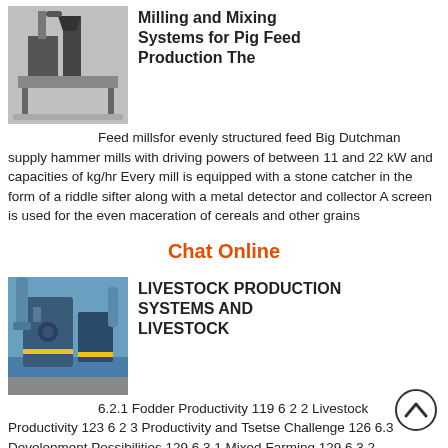[Figure (photo): Industrial milling machine equipment, dark machinery on platform]
Milling and Mixing Systems for Pig Feed Production The
Feed millsfor evenly structured feed Big Dutchman supply hammer mills with driving powers of between 11 and 22 kW and capacities of kg/hr Every mill is equipped with a stone catcher in the form of a riddle sifter along with a metal detector and collector A screen is used for the even maceration of cereals and other grains
Chat Online
[Figure (photo): Industrial livestock production equipment, blue machinery]
LIVESTOCK PRODUCTION SYSTEMS AND LIVESTOCK
6.2.1 Fodder Productivity 119 6 2 2 Livestock Productivity 123 6 2 3 Productivity and Tsetse Challenge 126 6.3 Development Possibilities 129 6 3 1 Mixed Farming 129 6 3 2